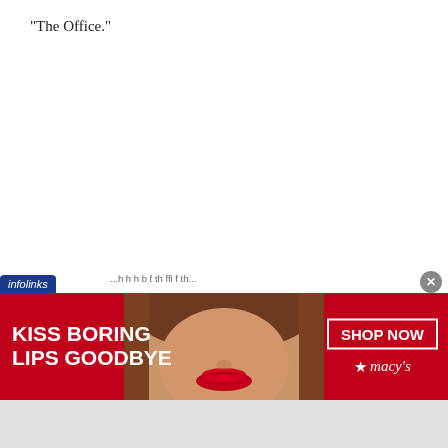“The Office.”
[Figure (screenshot): Advertisement banner: infolinks bar with blurred text, and a Macy's ad with red background showing a woman's face with red lips, text 'KISS BORING LIPS GOODBYE', 'SHOP NOW' button, and Macy's star logo.]